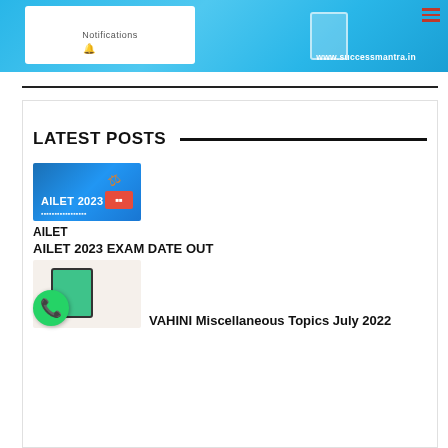[Figure (screenshot): Website header banner for successmantra.in with blue background, Notifications text, bell icon, tablet graphic, website URL www.successmantra.in, and hamburger menu icon]
LATEST POSTS
[Figure (screenshot): AILET 2023 exam thumbnail image with blue background, gavel icon, red tag, and text AILET 2023]
AILET
AILET 2023 EXAM DATE OUT
[Figure (screenshot): Smartphone with green screen being held by hand, notebook and red cup in background, with WhatsApp floating button overlay]
VAHINI Miscellaneous Topics July 2022